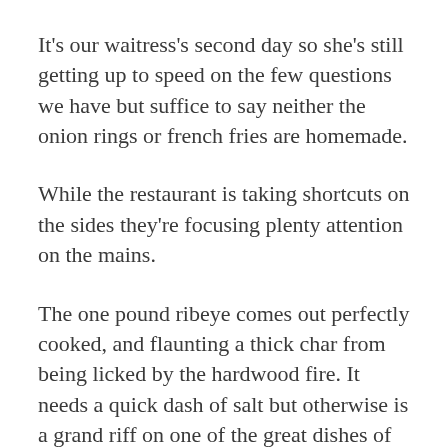It's our waitress's second day so she's still getting up to speed on the few questions we have but suffice to say neither the onion rings or french fries are homemade.
While the restaurant is taking shortcuts on the sides they're focusing plenty attention on the mains.
The one pound ribeye comes out perfectly cooked, and flaunting a thick char from being licked by the hardwood fire. It needs a quick dash of salt but otherwise is a grand riff on one of the great dishes of the roadhouse canon. A wan side salad could've been rescued by scratch dressing but the then...